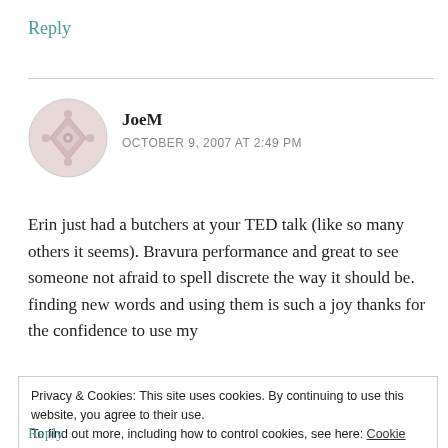Reply
[Figure (illustration): Gravatar avatar icon for user JoeM — circular placeholder with geometric diamond pattern in muted pink/grey tones]
JoeM
OCTOBER 9, 2007 AT 2:49 PM
Erin just had a butchers at your TED talk (like so many others it seems). Bravura performance and great to see someone not afraid to spell discrete the way it should be. finding new words and using them is such a joy thanks for the confidence to use my
Privacy & Cookies: This site uses cookies. By continuing to use this website, you agree to their use.
To find out more, including how to control cookies, see here: Cookie Policy
Close and accept
Reply